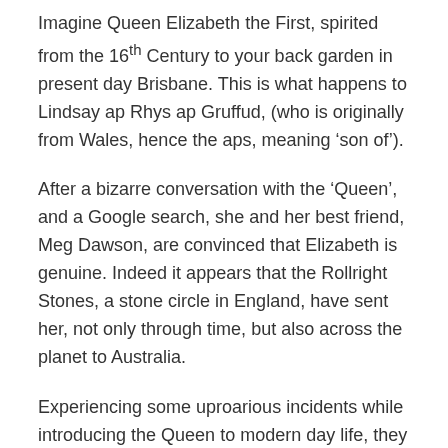Imagine Queen Elizabeth the First, spirited from the 16th Century to your back garden in present day Brisbane. This is what happens to Lindsay ap Rhys ap Gruffud, (who is originally from Wales, hence the aps, meaning 'son of').
After a bizarre conversation with the ‘Queen’, and a Google search, she and her best friend, Meg Dawson, are convinced that Elizabeth is genuine. Indeed it appears that the Rollright Stones, a stone circle in England, have sent her, not only through time, but also across the planet to Australia.
Experiencing some uproarious incidents while introducing the Queen to modern day life, they find her intelligent and good company. They realise, however, that